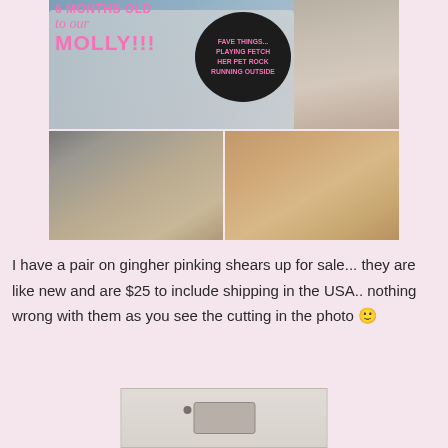[Figure (photo): Photo collage of a dog named Molly at 6 months old. Top section has pink text reading '6 MONTHS OLD to our MOLLY!!!' with a dark bubble containing pink text 'FAVE THINGS... PLAYING FETCH HER PET ROCK RUNNING OUTSIDE'. Right side shows a small dog photo. Bottom two panels show close-up photos of a brown and white Cavalier King Charles Spaniel type dog.]
I have a pair on gingher pinking shears up for sale... they are like new and are $25 to include shipping in the USA.. nothing wrong with them as you see the cutting in the photo 🙂
[Figure (photo): Partial photo at bottom of page showing what appears to be a pair of pinking shears in a case or box on a light background.]